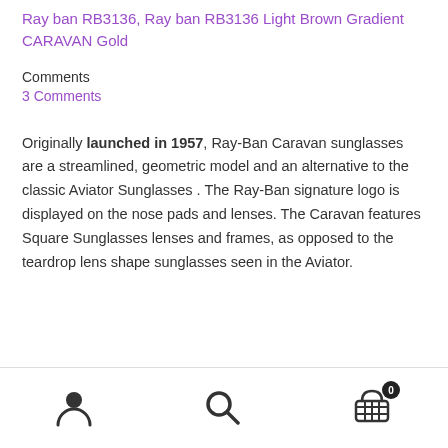Ray ban RB3136, Ray ban RB3136 Light Brown Gradient CARAVAN Gold
Comments
3 Comments
Originally launched in 1957, Ray-Ban Caravan sunglasses are a streamlined, geometric model and an alternative to the classic Aviator Sunglasses . The Ray-Ban signature logo is displayed on the nose pads and lenses. The Caravan features Square Sunglasses lenses and frames, as opposed to the teardrop lens shape sunglasses seen in the Aviator.
Navigation icons: account, search, cart (0)